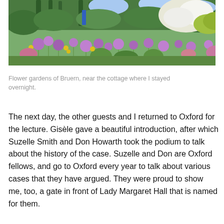[Figure (photo): A lush flower garden at Bruern with colorful blooms including purple alliums, yellow flowers, white roses, and trimmed green shrubs, with tall trees in the background.]
Flower gardens of Bruern, near the cottage where I stayed overnight.
The next day, the other guests and I returned to Oxford for the lecture. Gisèle gave a beautiful introduction, after which Suzelle Smith and Don Howarth took the podium to talk about the history of the case. Suzelle and Don are Oxford fellows, and go to Oxford every year to talk about various cases that they have argued. They were proud to show me, too, a gate in front of Lady Margaret Hall that is named for them.